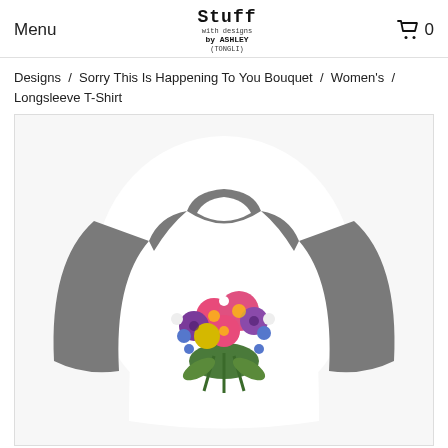Menu | Stuff with designs by Ashley (Tongli) | 0
Designs / Sorry This Is Happening To You Bouquet / Women's / Longsleeve T-Shirt
[Figure (photo): A women's longsleeve baseball-style raglan t-shirt with gray sleeves and white body, featuring a colorful floral bouquet print (pink, purple, yellow, green flowers) on the chest area.]